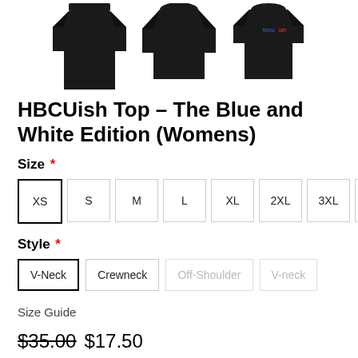[Figure (photo): Three black womens tops shown as product thumbnails: a long-sleeve dress, a crewneck top, and a short-sleeve top with hbcuish logo]
HBCUish Top - The Blue and White Edition (Womens)
Size *
XS S M L XL 2XL 3XL 4XL (size selector buttons, XS selected)
Style *
V-Neck (selected), Crewneck, Off-Shoulder (disabled), V-neck (disabled)
Size Guide
$35.00  $17.50